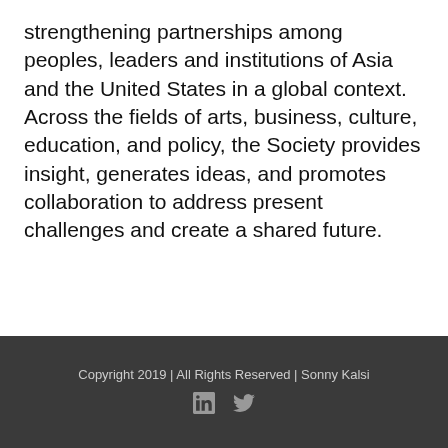strengthening partnerships among peoples, leaders and institutions of Asia and the United States in a global context. Across the fields of arts, business, culture, education, and policy, the Society provides insight, generates ideas, and promotes collaboration to address present challenges and create a shared future.
Copyright 2019 | All Rights Reserved | Sonny Kalsi